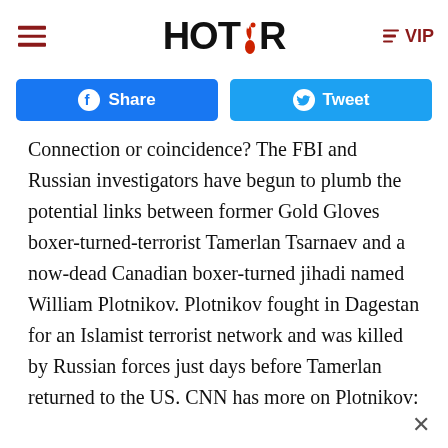HOT AIR
[Figure (other): Facebook Share button and Twitter Tweet button]
Connection or coincidence? The FBI and Russian investigators have begun to plumb the potential links between former Gold Gloves boxer-turned-terrorist Tamerlan Tsarnaev and a now-dead Canadian boxer-turned jihadi named William Plotnikov. Plotnikov fought in Dagestan for an Islamist terrorist network and was killed by Russian forces just days before Tamerlan returned to the US. CNN has more on Plotnikov: